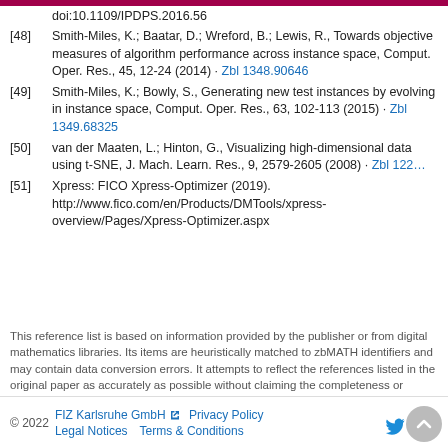doi:10.1109/IPDPS.2016.56
[48] Smith-Miles, K.; Baatar, D.; Wreford, B.; Lewis, R., Towards objective measures of algorithm performance across instance space, Comput. Oper. Res., 45, 12-24 (2014) · Zbl 1348.90646
[49] Smith-Miles, K.; Bowly, S., Generating new test instances by evolving in instance space, Comput. Oper. Res., 63, 102-113 (2015) · Zbl 1349.68325
[50] van der Maaten, L.; Hinton, G., Visualizing high-dimensional data using t-SNE, J. Mach. Learn. Res., 9, 2579-2605 (2008) · Zbl 122...
[51] Xpress: FICO Xpress-Optimizer (2019). http://www.fico.com/en/Products/DMTools/xpress-overview/Pages/Xpress-Optimizer.aspx
This reference list is based on information provided by the publisher or from digital mathematics libraries. Its items are heuristically matched to zbMATH identifiers and may contain data conversion errors. It attempts to reflect the references listed in the original paper as accurately as possible without claiming the completeness or perfect precision of the matching.
© 2022   FIZ Karlsruhe GmbH   Privacy Policy   Legal Notices   Terms & Conditions